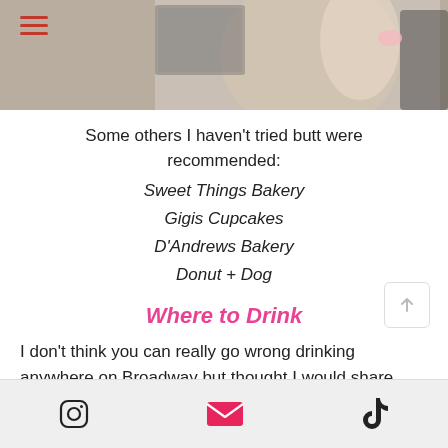[Figure (photo): Top portion of a blog/website page showing a photo of a person holding something, with a red hamburger menu icon in the top left.]
Some others I haven't tried butt were recommended:
Sweet Things Bakery
Gigis Cupcakes
D'Andrews Bakery
Donut + Dog
Where to Drink
I don't think you can really go wrong drinking anywhere on Broadway but thought I would share some that we went to and loved. The rooftops were some of our faves and also make for great photo ops!haring some of the rooftops I've been
Instagram, Email, TikTok icons